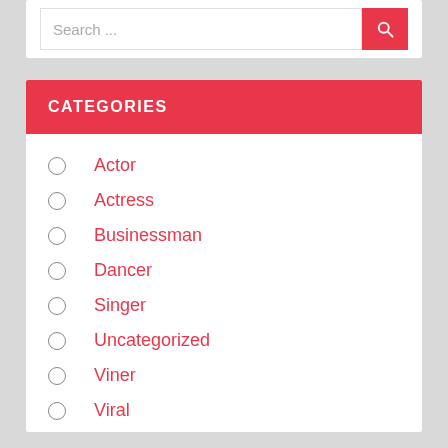Search ...
CATEGORIES
Actor
Actress
Businessman
Dancer
Singer
Uncategorized
Viner
Viral
Youtuber